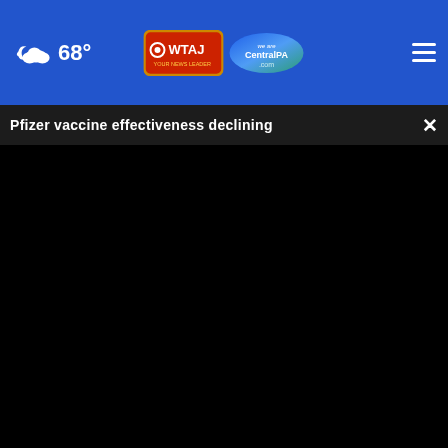68° — WTAJ / CentralPA.com news website navigation bar
Pfizer vaccine effectiveness declining
[Figure (screenshot): Black video player frame showing a paused/unloaded video. Progress bar at bottom with white dot at start position. Controls showing play button, mute icon, 00:00 timestamp, CC button, and fullscreen icon. Below the player is a video thumbnail strip showing a blurred outdoor/animal scene. An advertisement banner for CamTran 'SAVE CASH ON GAS! BUY PASSES!' overlays the bottom portion. Partial article text visible: 'Hon... ...ns for']